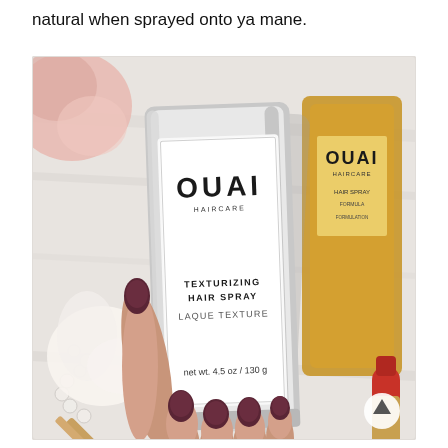natural when sprayed onto ya mane.
[Figure (photo): A hand with dark mauve/brown nail polish holding a OUAI Haircare Texturizing Hair Spray bottle (net wt. 4.5oz/130g). Background shows another OUAI product bottle in gold/yellow and beauty accessories including pearls, gold pen, and red lipstick cap on a marble surface.]